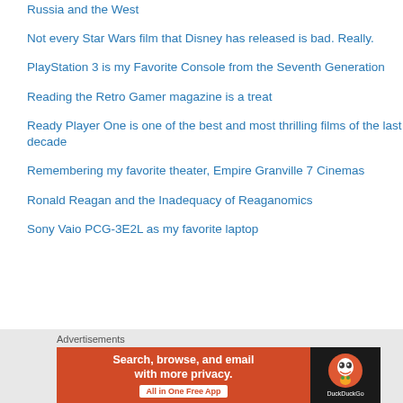Russia and the West
Not every Star Wars film that Disney has released is bad. Really.
PlayStation 3 is my Favorite Console from the Seventh Generation
Reading the Retro Gamer magazine is a treat
Ready Player One is one of the best and most thrilling films of the last decade
Remembering my favorite theater, Empire Granville 7 Cinemas
Ronald Reagan and the Inadequacy of Reaganomics
Sony Vaio PCG-3E2L as my favorite laptop
Advertisements
[Figure (screenshot): DuckDuckGo advertisement banner: orange left panel with text 'Search, browse, and email with more privacy. All in One Free App' and dark right panel with DuckDuckGo logo]